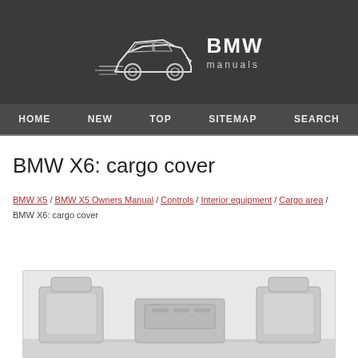BMW manuals
BMW X6: cargo cover
BMW X5 / BMW X5 Owners Manual / Controls / Interior equipment / Cargo area / BMW X6: cargo cover
[Figure (illustration): Interior view of BMW X6 cargo area from behind showing rear seats and cargo compartment in line-drawing style]